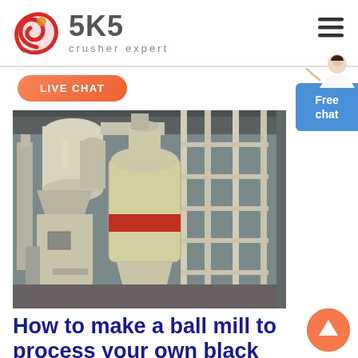[Figure (logo): SKS Crusher Expert logo with red swirl icon and grey SKS text with 'crusher expert' tagline]
[Figure (other): Hamburger menu icon (three horizontal lines) in dark grey]
LIVE CHAT
[Figure (photo): Industrial milling/grinding equipment in a factory setting — large cream/beige colored machines with hoppers, cyclones, and metal framework structures inside an industrial building]
[Figure (other): Free chat button with female customer service representative icon, blue rounded rectangle showing 'Free chat']
How to make a ball mill to process your own black powder